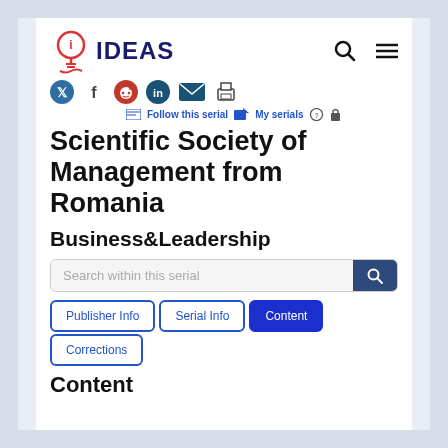[Figure (logo): IDEAS logo with lightbulb icon and blue bold text 'IDEAS']
[Figure (infographic): Social sharing icons: Twitter, Facebook, Reddit, LinkedIn, Email, Print]
Follow this serial   My serials
Scientific Society of Management from Romania
Business&Leadership
Search within this serial
Publisher Info  Serial Info  Content  Corrections
Content